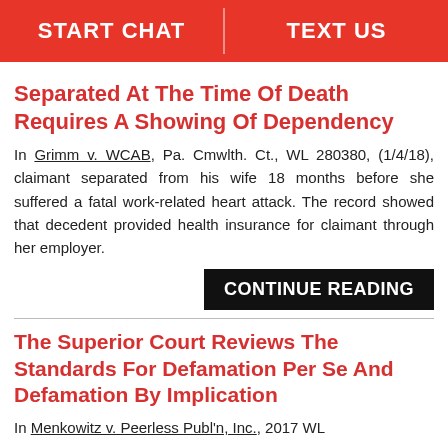START CHAT | TEXT US
Separated At The Time Of Death Requires A Showing Of Dependency
In Grimm v. WCAB, Pa. Cmwlth. Ct., WL 280380, (1/4/18), claimant separated from his wife 18 months before she suffered a fatal work-related heart attack. The record showed that decedent provided health insurance for claimant through her employer.
CONTINUE READING
The Superior Court Reviews The Standards For Defamation Per Se And Defamation By Implication
In Menkowitz v. Peerless Publ'n, Inc., 2017 WL